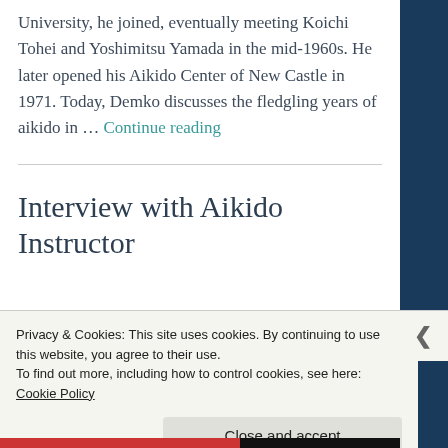University, he joined, eventually meeting Koichi Tohei and Yoshimitsu Yamada in the mid-1960s. He later opened his Aikido Center of New Castle in 1971. Today, Demko discusses the fledgling years of aikido in … Continue reading
Interview with Aikido Instructor
Privacy & Cookies: This site uses cookies. By continuing to use this website, you agree to their use.
To find out more, including how to control cookies, see here:
Cookie Policy